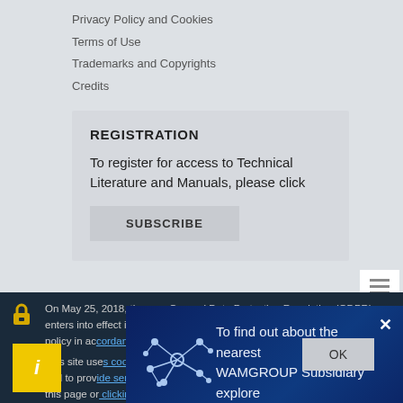Privacy Policy and Cookies
Terms of Use
Trademarks and Copyrights
Credits
REGISTRATION
To register for access to Technical Literature and Manuals, please click
SUBSCRIBE
On May 25, 2018, the new General Data Protection Regulation (GDPR) enters into effect in all EU member states, and the applicable data processing policy in ac...
This site use... and to pro... this page o... to learn mo...
and Cookies
To find out about the nearest WAMGROUP Subsidiary explore Global Network
OK